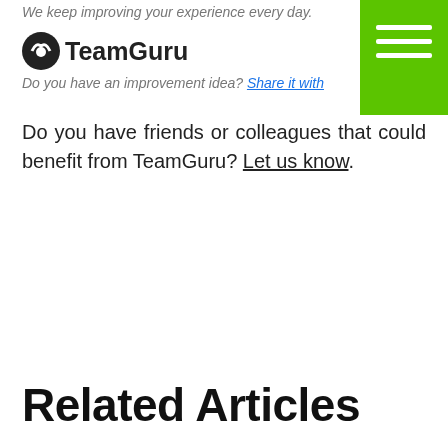TeamGuru
We keep improving your experience every day. Do you have an improvement idea? Share it with us.
Do you have friends or colleagues that could benefit from TeamGuru? Let us know.
Related Articles